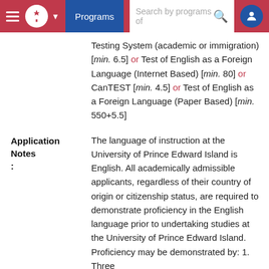Programs | Search by programs of
Testing System (academic or immigration) [min. 6.5] or Test of English as a Foreign Language (Internet Based) [min. 80] or CanTEST [min. 4.5] or Test of English as a Foreign Language (Paper Based) [min. 550+5.5]
Application Notes:
The language of instruction at the University of Prince Edward Island is English. All academically admissible applicants, regardless of their country of origin or citizenship status, are required to demonstrate proficiency in the English language prior to undertaking studies at the University of Prince Edward Island. Proficiency may be demonstrated by: 1. Three